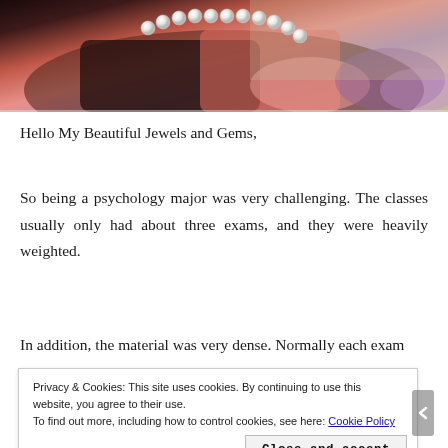[Figure (photo): Photo of a woman wearing a pearl necklace and dark bikini top, with a pink item and purple fabric visible, beach sand in background]
Hello My Beautiful Jewels and Gems,
So being a psychology major was very challenging. The classes usually only had about three exams, and they were heavily weighted.
In addition, the material was very dense. Normally each exam
Privacy & Cookies: This site uses cookies. By continuing to use this website, you agree to their use.
To find out more, including how to control cookies, see here: Cookie Policy
Close and accept